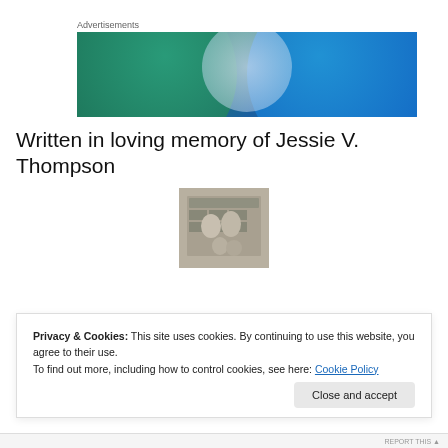Advertisements
[Figure (illustration): Blue and teal advertisement banner with two overlapping circles forming a Venn diagram shape on a blue background]
Written in loving memory of Jessie V. Thompson
[Figure (photo): Black and white vintage photograph of a family group]
Privacy & Cookies: This site uses cookies. By continuing to use this website, you agree to their use.
To find out more, including how to control cookies, see here: Cookie Policy